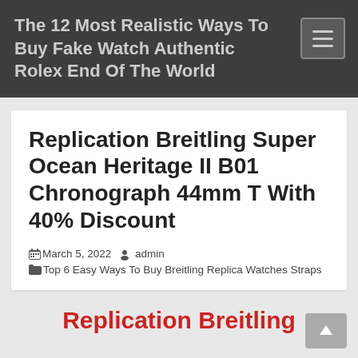The 12 Most Realistic Ways To Buy Fake Watch Authentic Rolex End Of The World
Replication Breitling Super Ocean Heritage II B01 Chronograph 44mm T With 40% Discount
March 5, 2022  admin  Top 6 Easy Ways To Buy Breitling Replica Watches Straps
Replication Breitling